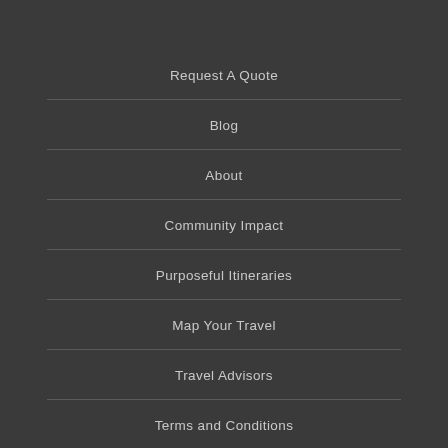Request A Quote
Blog
About
Community Impact
Purposeful Itineraries
Map Your Travel
Travel Advisors
Terms and Conditions
Our Partners